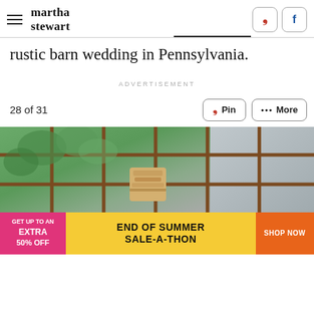martha stewart
rustic barn wedding in Pennsylvania.
ADVERTISEMENT
28 of 31
[Figure (photo): Wedding cake or decorative item on a barn window ledge with green trees visible through the paned window]
[Figure (infographic): Advertisement banner: GET UP TO AN EXTRA 50% OFF — END OF SUMMER SALE-A-THON — SHOP NOW]